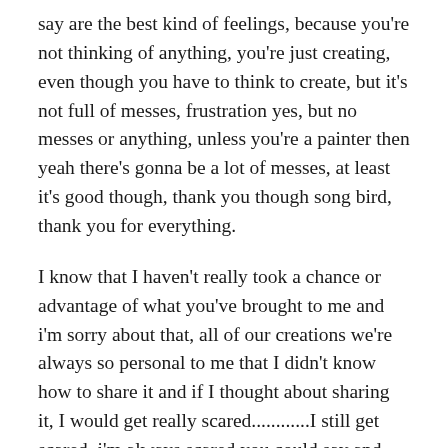say are the best kind of feelings, because you're not thinking of anything, you're just creating, even though you have to think to create, but it's not full of messes, frustration yes, but no messes or anything, unless you're a painter then yeah there's gonna be a lot of messes, at least it's good though, thank you though song bird, thank you for everything.
I know that I haven't really took a chance or advantage of what you've brought to me and i'm sorry about that, all of our creations we're always so personal to me that I didn't know how to share it and if I thought about sharing it, I would get really scared............I still get scared, i'm always scared you could say and now i'm trying to figure out how to be less scared, beside